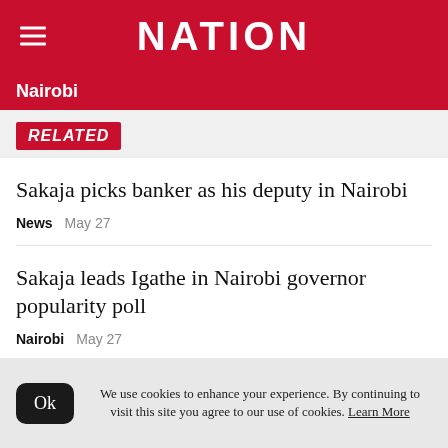NATION
Nairobi
RELATED
Sakaja picks banker as his deputy in Nairobi
News   May 27
Sakaja leads Igathe in Nairobi governor popularity poll
Nairobi   May 27
We use cookies to enhance your experience. By continuing to visit this site you agree to our use of cookies. Learn More